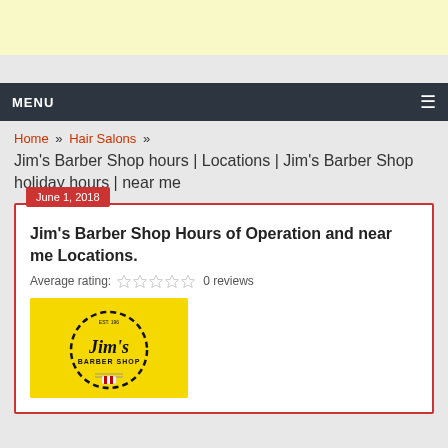[Figure (other): Yellow advertisement banner at top of page]
MENU ≡
Home » Hair Salons »
Jim's Barber Shop hours | Locations | Jim's Barber Shop holiday hours | near me
Jim's Barber Shop Hours of Operation and near me Locations.
Average rating: ☆☆☆☆☆ 0 reviews
[Figure (logo): Jim's Barber Shop yellow circular logo with dashed border and barber pole]